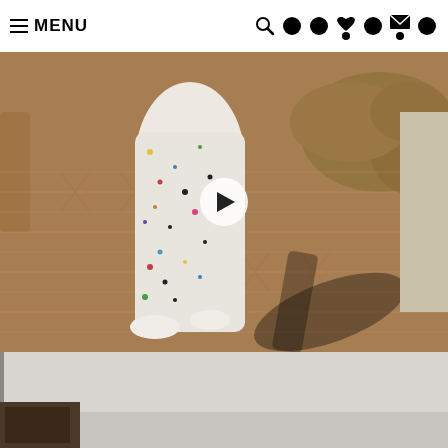MENU navigation bar with search and icon buttons
[Figure (photo): Person wearing white patterned leggings with colorful splatter print, standing on a herringbone brick pathway outdoors with green bushes in background. A video play button is overlaid in the center.]
[Figure (photo): Partial view of a second image below — gray background with a dark architectural element at bottom left.]